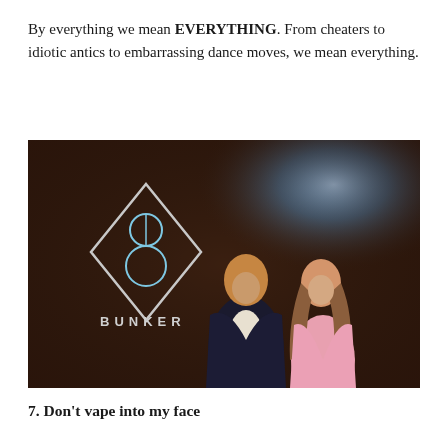By everything we mean EVERYTHING. From cheaters to idiotic antics to embarrassing dance moves, we mean everything.
[Figure (photo): Two people posing in front of a dark background with the 'BUNKER' nightclub logo (a diamond shape with a stylized '3' or infinity symbol inside, and the word BUNKER below). A man in a dark blazer stands with his arm around a woman in a pink dress with long brown hair. A bright blue-white light glows in the upper right background.]
7. Don't vape into my face